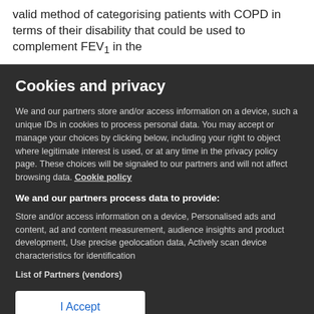valid method of categorising patients with COPD in terms of their disability that could be used to complement FEV1 in the
Cookies and privacy
We and our partners store and/or access information on a device, such a unique IDs in cookies to process personal data. You may accept or manage your choices by clicking below, including your right to object where legitimate interest is used, or at any time in the privacy policy page. These choices will be signaled to our partners and will not affect browsing data. Cookie policy
We and our partners process data to provide:
Store and/or access information on a device, Personalised ads and content, ad and content measurement, audience insights and product development, Use precise geolocation data, Actively scan device characteristics for identification
List of Partners (vendors)
I Accept